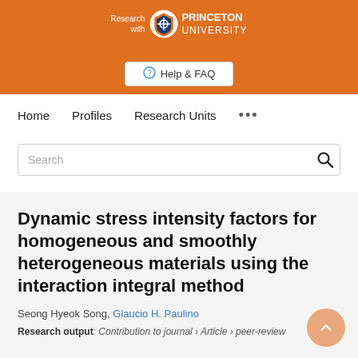[Figure (logo): Princeton University 'Research with Princeton University' logo with shield icon on orange background]
Help & FAQ
Home   Profiles   Research Units   ...
Search
Dynamic stress intensity factors for homogeneous and smoothly heterogeneous materials using the interaction integral method
Seong Hyeok Song, Glaucio H. Paulino
Research output: Contribution to journal › Article › peer-review